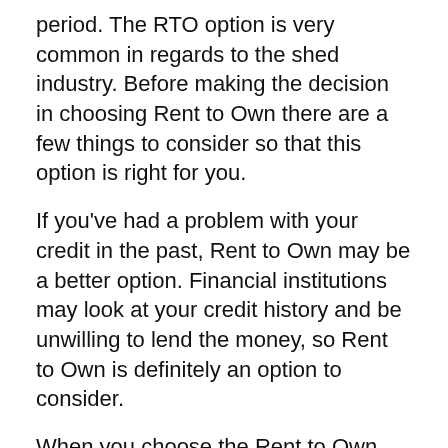period. The RTO option is very common in regards to the shed industry. Before making the decision in choosing Rent to Own there are a few things to consider so that this option is right for you.
If you've had a problem with your credit in the past, Rent to Own may be a better option. Financial institutions may look at your credit history and be unwilling to lend the money, so Rent to Own is definitely an option to consider.
When you choose the Rent to Own option you have more of an ownership feeling than someone who is just renting a self storage unit. Your storage shed can be conveniently placed at your home for easy and quick access. The buyer has the right, but is not required, to make a purchase of a shed.
WE DO NOT DO CREDIT CHECKS! We offer an affordable alternative to buying your portable building